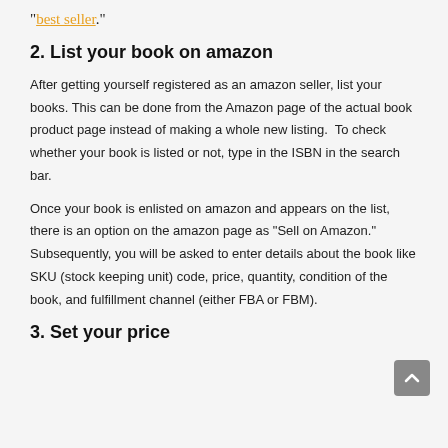"best seller."
2. List your book on amazon
After getting yourself registered as an amazon seller, list your books. This can be done from the Amazon page of the actual book product page instead of making a whole new listing.  To check whether your book is listed or not, type in the ISBN in the search bar.
Once your book is enlisted on amazon and appears on the list, there is an option on the amazon page as "Sell on Amazon." Subsequently, you will be asked to enter details about the book like SKU (stock keeping unit) code, price, quantity, condition of the book, and fulfillment channel (either FBA or FBM).
3. Set your price